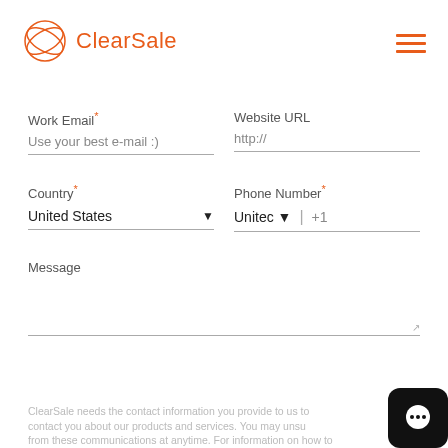[Figure (logo): ClearSale logo with orange circular icon and orange text 'ClearSale']
[Figure (other): Orange hamburger menu icon (three horizontal lines) in top right]
Work Email* — Use your best e-mail :)
Website URL — http://
Country* — United States (dropdown)
Phone Number* — United States + +1
Message
ClearSale needs the contact information you provide to us to contact you about our products and services. You may unsubscribe from these communications at anytime. For information on how to...